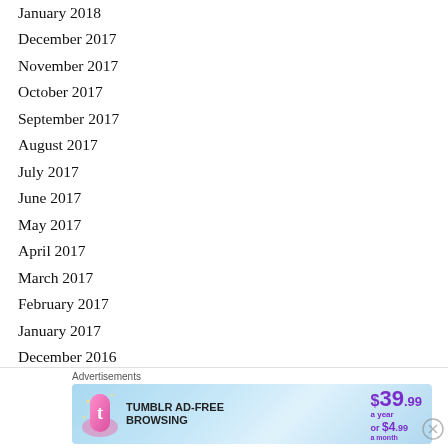January 2018
December 2017
November 2017
October 2017
September 2017
August 2017
July 2017
June 2017
May 2017
April 2017
March 2017
February 2017
January 2017
December 2016
November 2016
October 2016 (partial)
[Figure (other): Tumblr Ad-Free Browsing advertisement banner showing $39.99 a year or $4.99 a month pricing with Tumblr logo]